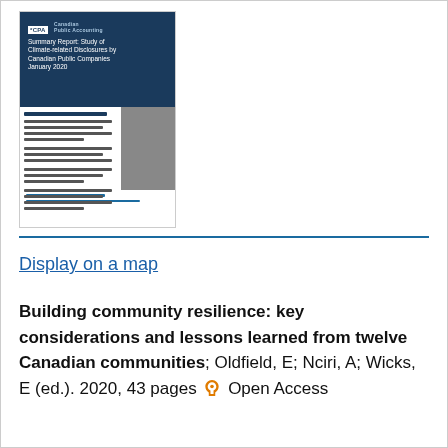[Figure (illustration): Thumbnail preview of a CPA report titled 'Summary Report: Study of Climate-related Disclosures by Canadian Public Companies, January 2020'. The cover shows a dark navy blue header with the CPA logo and title in white, followed by a two-column body section with text on the left and a grey column on the right, and a footer with a blue hyperlink.]
Display on a map
Building community resilience: key considerations and lessons learned from twelve Canadian communities; Oldfield, E; Nciri, A; Wicks, E (ed.). 2020, 43 pages Open Access